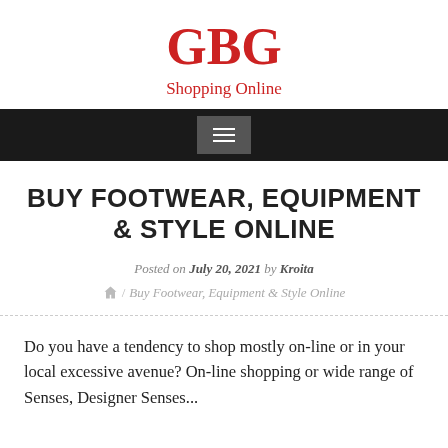GBG
Shopping Online
BUY FOOTWEAR, EQUIPMENT & STYLE ONLINE
Posted on July 20, 2021 by Kroita
/ Buy Footwear, Equipment & Style Online
Do you have a tendency to shop mostly on-line or in your local excessive avenue? On-line shopping or wide range of Senses, Designer Senses...